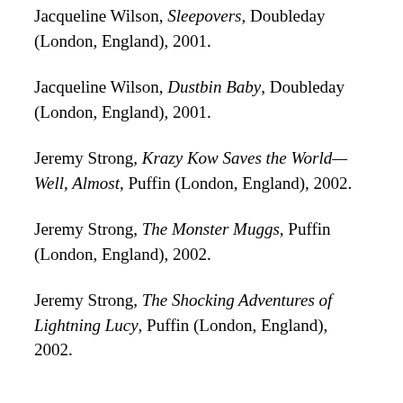Jacqueline Wilson, Sleepovers, Doubleday (London, England), 2001.
Jacqueline Wilson, Dustbin Baby, Doubleday (London, England), 2001.
Jeremy Strong, Krazy Kow Saves the World—Well, Almost, Puffin (London, England), 2002.
Jeremy Strong, The Monster Muggs, Puffin (London, England), 2002.
Jeremy Strong, The Shocking Adventures of Lightning Lucy, Puffin (London, England), 2002.